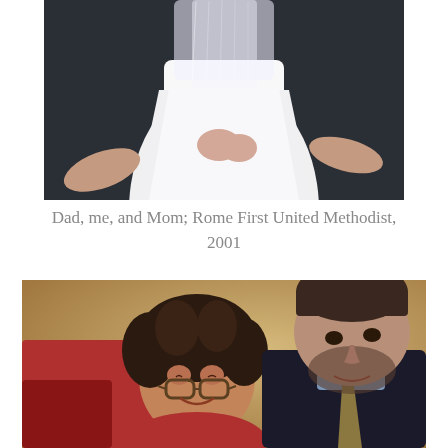[Figure (photo): Wedding photo showing a bride in white dress and veil from waist down, with hands visible on either side (Dad and Mom), at Rome First United Methodist, 2001]
Dad, me, and Mom; Rome First United Methodist, 2001
[Figure (photo): Portrait photo of a woman with curly dark hair and glasses in a red jacket leaning her head on the shoulder of a man with short dark hair and a beard wearing a dark suit and tie]